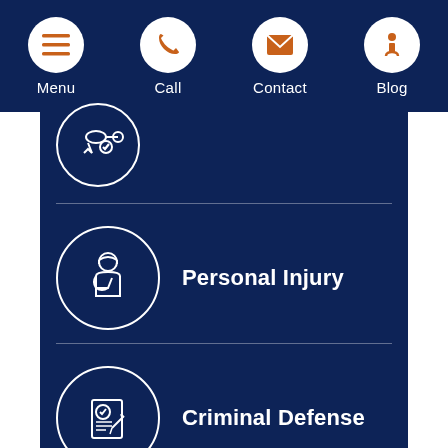Menu | Call | Contact | Blog
[Figure (illustration): Partially visible circular icon with key and checkmark symbol on dark navy background]
Personal Injury
Criminal Defense